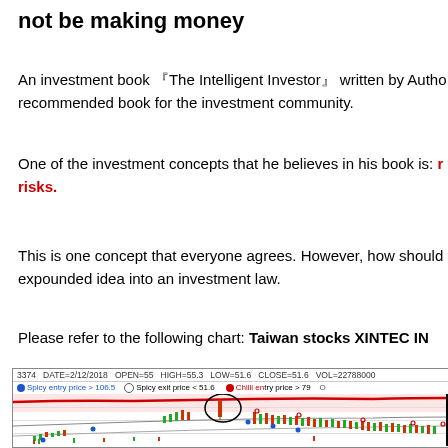not be making money
An investment book 『The Intelligent Investor』 written by Autho... recommended book for the investment community.
One of the investment concepts that he believes in his book is: [bold red text] risks.
This is one concept that everyone agrees. However, how should... expounded idea into an investment law.
Please refer to the following chart: Taiwan stocks XINTEC IN...
[Figure (other): Stock candlestick chart for Taiwan stock 3374 XINTEC. Header shows DATE=2/12/2018 OPEN=55 HIGH=55.3 LOW=51.6 CLOSE=51.6 VOL=22788000. Legend shows: Spicy entry price > 106.5, Spicy exit price < 51.6, Chilli entry price > 79. Chart shows candlesticks with moving average lines (red band at top, grey lines below), with a circled area highlighting a significant price drop.]